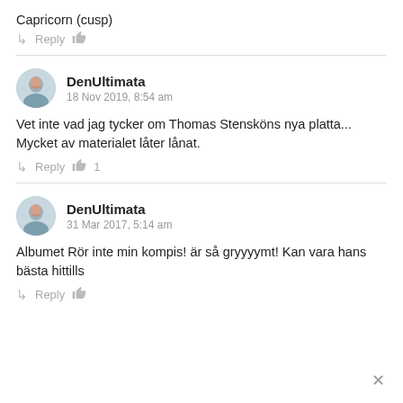Capricorn (cusp)
Reply
DenUltimata
18 Nov 2019, 8:54 am
Vet inte vad jag tycker om Thomas Stensköns nya platta... Mycket av materialet låter lånat.
Reply  1
DenUltimata
31 Mar 2017, 5:14 am
Albumet Rör inte min kompis! är så gryyyymt! Kan vara hans bästa hittills
Reply
×